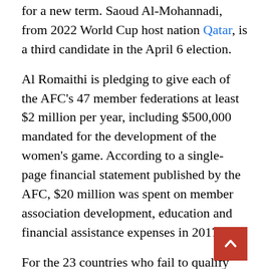for a new term. Saoud Al-Mohannadi, from 2022 World Cup host nation Qatar, is a third candidate in the April 6 election.
Al Romaithi is pledging to give each of the AFC's 47 member federations at least $2 million per year, including $500,000 mandated for the development of the women's game. According to a single-page financial statement published by the AFC, $20 million was spent on member association development, education and financial assistance expenses in 2017.
For the 23 countries who fail to qualify for the 24-team Asian Cup, Al Romaithi is pledging to launch a new Associations Cup with a $7.5 million prize fund. The Women's Asian Cup would also be doubled to 16 teams.